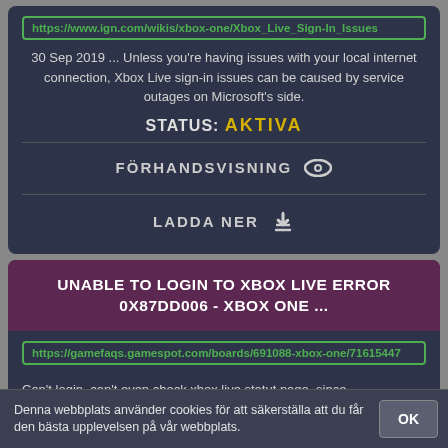https://www.ign.com/wikis/xbox-one/Xbox_Live_Sign-In_Issues
30 Sep 2019 ... Unless you're having issues with your local internet connection, Xbox Live sign-in issues can be caused by service outages on Microsoft's side.
STATUS: AKTIVA
FÖRHANDSVISNING
LADDA NER
UNABLE TO LOGIN TO XBOX LIVE ERROR 0X87DD006 - XBOX ONE ...
https://gamefaqs.gamespot.com/boards/691088-xbox-one/71615447
Can't login, can't even check xbox live statut page, since account.xbox.com
Denna webbplats använder cookies för att säkerställa att du får den bästa upplevelsen på vår webbplats.